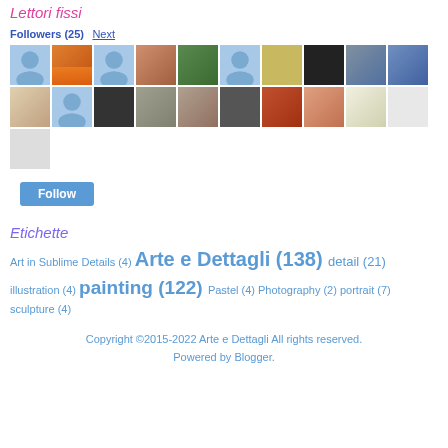Lettori fissi
Followers (25) Next
[Figure (photo): Grid of 21 follower avatar thumbnails, mix of placeholder user icons and real photos]
Follow button
Etichette
Art in Sublime Details (4) Arte e Dettagli (138) detail (21) illustration (4) painting (122) Pastel (4) Photography (2) portrait (7) sculpture (4)
Copyright ©2015-2022 Arte e Dettagli All rights reserved. Powered by Blogger.